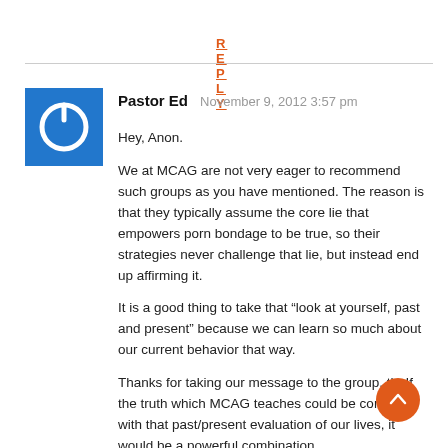REPLY
[Figure (illustration): Blue square avatar with white power button icon]
Pastor Ed   November 9, 2012 3:57 pm
Hey, Anon.
We at MCAG are not very eager to recommend such groups as you have mentioned. The reason is that they typically assume the core lie that empowers porn bondage to be true, so their strategies never challenge that lie, but instead end up affirming it.
It is a good thing to take that “look at yourself, past and present” because we can learn so much about our current behavior that way.
Thanks for taking our message to the group, th. If the truth which MCAG teaches could be combined with that past/present evaluation of our lives, it would be a powerful combination.